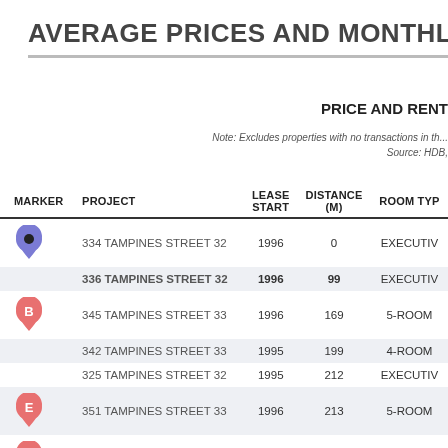AVERAGE PRICES AND MONTHLY RENTS
PRICE AND RENT
Note: Excludes properties with no transactions in th...
Source: HDB,
| MARKER | PROJECT | LEASE START | DISTANCE (M) | ROOM TYPE |
| --- | --- | --- | --- | --- |
| [purple pin] | 334 TAMPINES STREET 32 | 1996 | 0 | EXECUTIVE |
|  | 336 TAMPINES STREET 32 | 1996 | 99 | EXECUTIVE |
| B | 345 TAMPINES STREET 33 | 1996 | 169 | 5-ROOM |
|  | 342 TAMPINES STREET 33 | 1995 | 199 | 4-ROOM |
|  | 325 TAMPINES STREET 32 | 1995 | 212 | EXECUTIVE |
| E | 351 TAMPINES STREET 33 | 1996 | 213 | 5-ROOM |
| F | 358 TAMPINES STREET 33 | 1996 | 218 | 4-ROOM |
|  |  |  |  | 5-ROOM |
| G | 340 TAMPINES STREET 33 | 1995 | 224 | 5-ROOM |